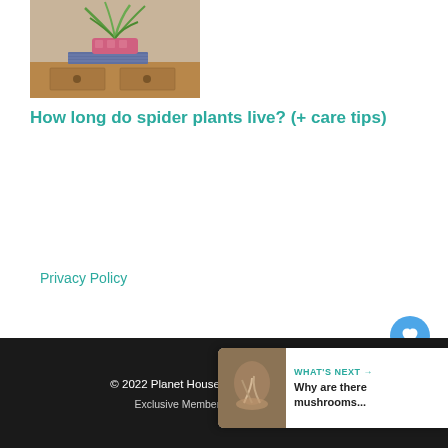[Figure (photo): A spider plant in a pink pot sitting on a wooden shelf with a blue patterned fabric underneath]
How long do spider plants live? (+ care tips)
Privacy Policy
© 2022 Planet Houseplant • Built with Gen... | Exclusive Member of Mediavine Home
WHAT'S NEXT → Why are there mushrooms...